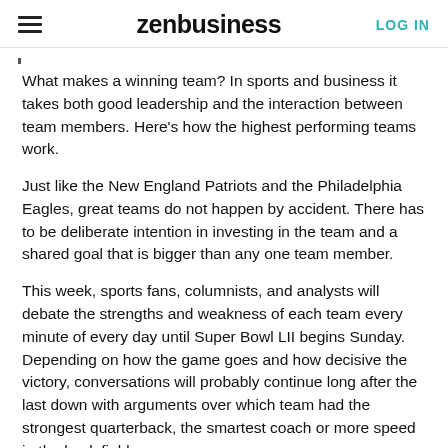zenbusiness   LOG IN
What makes a winning team? In sports and business it takes both good leadership and the interaction between team members. Here's how the highest performing teams work.
Just like the New England Patriots and the Philadelphia Eagles, great teams do not happen by accident. There has to be deliberate intention in investing in the team and a shared goal that is bigger than any one team member.
This week, sports fans, columnists, and analysts will debate the strengths and weakness of each team every minute of every day until Super Bowl LII begins Sunday. Depending on how the game goes and how decisive the victory, conversations will probably continue long after the last down with arguments over which team had the strongest quarterback, the smartest coach or more speed in the back field.